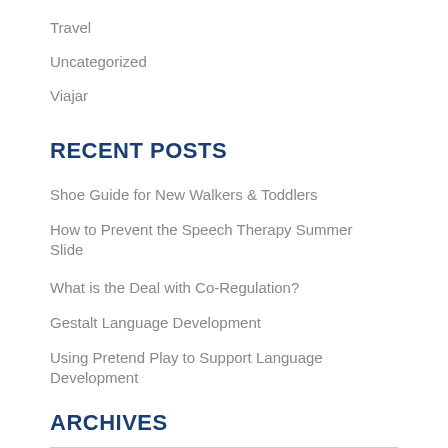Travel
Uncategorized
Viajar
RECENT POSTS
Shoe Guide for New Walkers & Toddlers
How to Prevent the Speech Therapy Summer Slide
What is the Deal with Co-Regulation?
Gestalt Language Development
Using Pretend Play to Support Language Development
ARCHIVES